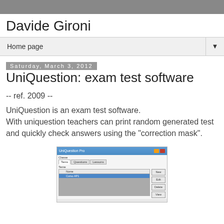Davide Gironi
Home page
Saturday, March 3, 2012
UniQuestion: exam test software
-- ref. 2009 --
UniQuestion is an exam test software.
With uniquestion teachers can print random generated test and quickly check answers using the "correction mask".
[Figure (screenshot): Screenshot of UniQuestion application window showing a course list interface with tabs (Questions, Lessons), a table with a selected row 'Course AP1', and action buttons (New, Edit, Delete, View).]